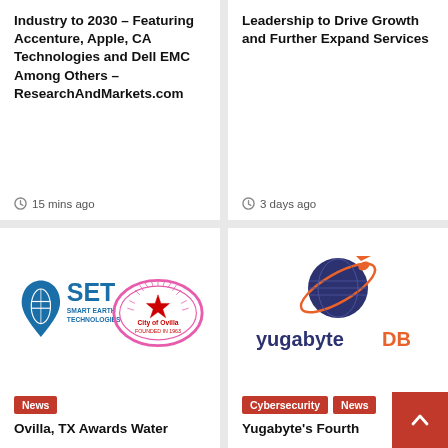Industry to 2030 – Featuring Accenture, Apple, CA Technologies and Dell EMC Among Others – ResearchAndMarkets.com
15 mins ago
Leadership to Drive Growth and Further Expand Services
3 days ago
[Figure (logo): SET Smart Earth Technologies logo with blue water drop globe and City of Ovilla pink oval logo]
News
Ovilla, TX Awards Water
[Figure (logo): YugabyteDB logo: dark blue globe with orange satellite and yugabyteDB text in dark blue and orange]
Cybersecurity
News
Yugabyte's Fourth